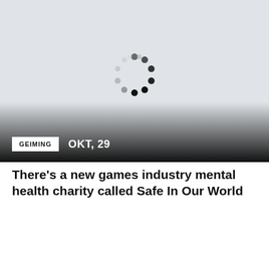[Figure (screenshot): Loading spinner (circular dots) on a light gray card background with dark gradient overlay at bottom. Tag reading GEIMING and date OKT, 29 overlaid on gradient.]
GEIMING
OKT, 29
There's a new games industry mental health charity called Safe In Our World
[Figure (screenshot): Second card with light gray background and two loading dots at bottom center.]